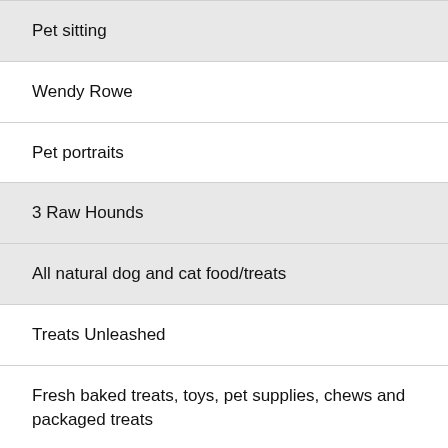Pet sitting
Wendy Rowe
Pet portraits
3 Raw Hounds
All natural dog and cat food/treats
Treats Unleashed
Fresh baked treats, toys, pet supplies, chews and packaged treats
Bailey's Boutique